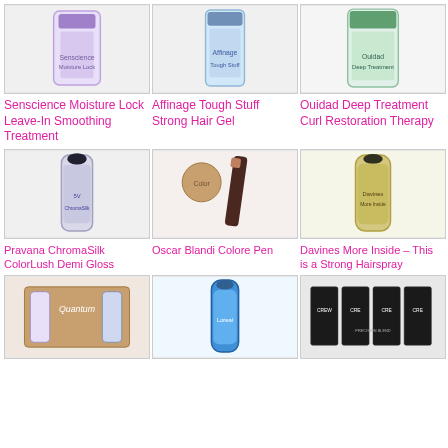[Figure (photo): Senscience Moisture Lock Leave-In Smoothing Treatment product image]
Senscience Moisture Lock Leave-In Smoothing Treatment
[Figure (photo): Affinage Tough Stuff Strong Hair Gel product image]
Affinage Tough Stuff Strong Hair Gel
[Figure (photo): Ouidad Deep Treatment Curl Restoration Therapy product image]
Ouidad Deep Treatment Curl Restoration Therapy
[Figure (photo): Pravana ChromaSilk ColorLush Demi Gloss product image]
Pravana ChromaSilk ColorLush Demi Gloss
[Figure (photo): Oscar Blandi Colore Pen product image]
Oscar Blandi Colore Pen
[Figure (photo): Davines More Inside – This is a Strong Hairspray product image]
Davines More Inside – This is a Strong Hairspray
[Figure (photo): Quantum hair product kit image]
[Figure (photo): Blue hair product bottle image]
[Figure (photo): American Crew Precision Blend product image]